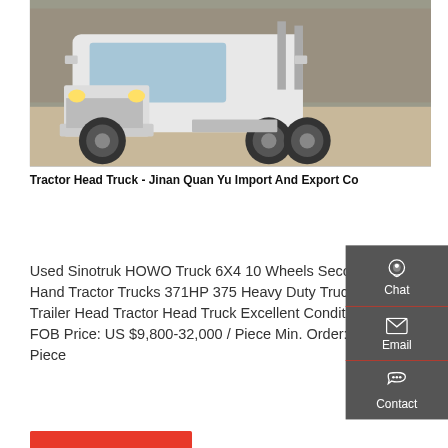[Figure (photo): White tractor head truck (Sinotruk HOWO) parked in a warehouse/concrete floor setting, front 3/4 view showing cab and wheels]
Tractor Head Truck - Jinan Quan Yu Import And Export Co
Used Sinotruk HOWO Truck 6X4 10 Wheels Second Hand Tractor Trucks 371HP 375 Heavy Duty Truck Trailer Head Tractor Head Truck Excellent Condition FOB Price: US $9,800-32,000 / Piece Min. Order: 1 Piece
GET A QUOTE
OTHER INFORMATION RELATED DIRECT SELLING